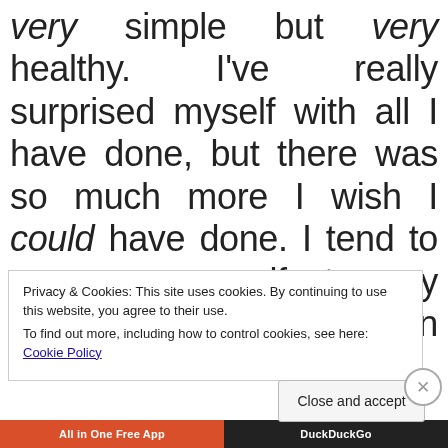very simple but very healthy. I've really surprised myself with all I have done, but there was so much more I wish I could have done. I tend to compare myself to my sister who possesses an internal drive like
Privacy & Cookies: This site uses cookies. By continuing to use this website, you agree to their use.
To find out more, including how to control cookies, see here: Cookie Policy
Close and accept